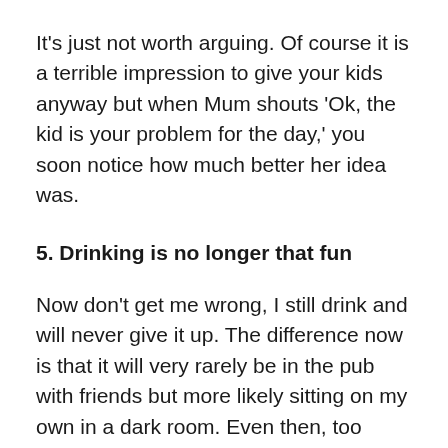It's just not worth arguing. Of course it is a terrible impression to give your kids anyway but when Mum shouts 'Ok, the kid is your problem for the day,' you soon notice how much better her idea was.
5. Drinking is no longer that fun
Now don't get me wrong, I still drink and will never give it up. The difference now is that it will very rarely be in the pub with friends but more likely sitting on my own in a dark room. Even then, too much hurts. Being Dad with a hangover is far more painful than an extra beer or two is worth.